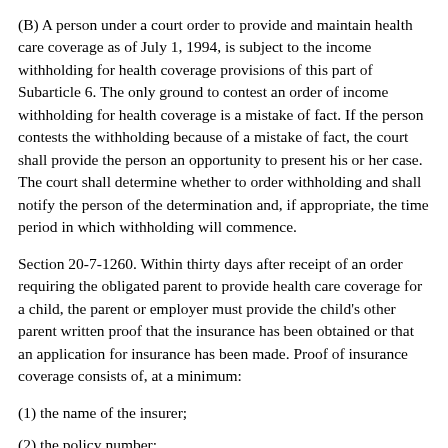(B) A person under a court order to provide and maintain health care coverage as of July 1, 1994, is subject to the income withholding for health coverage provisions of this part of Subarticle 6. The only ground to contest an order of income withholding for health coverage is a mistake of fact. If the person contests the withholding because of a mistake of fact, the court shall provide the person an opportunity to present his or her case. The court shall determine whether to order withholding and shall notify the person of the determination and, if appropriate, the time period in which withholding will commence.
Section 20-7-1260. Within thirty days after receipt of an order requiring the obligated parent to provide health care coverage for a child, the parent or employer must provide the child's other parent written proof that the insurance has been obtained or that an application for insurance has been made. Proof of insurance coverage consists of, at a minimum:
(1) the name of the insurer;
(2) the policy number;
(3) an insurance card;
(4) the address to which claims must be mailed;